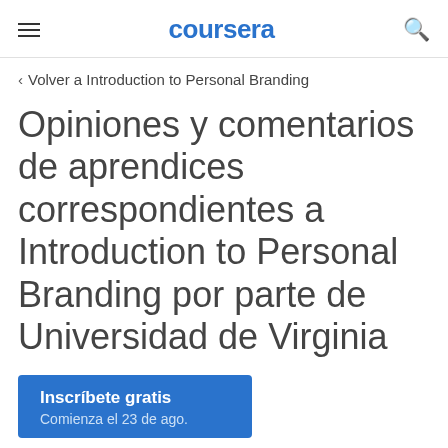coursera
< Volver a Introduction to Personal Branding
Opiniones y comentarios de aprendices correspondientes a Introduction to Personal Branding por parte de Universidad de Virginia
Inscríbete gratis
Comienza el 23 de ago.